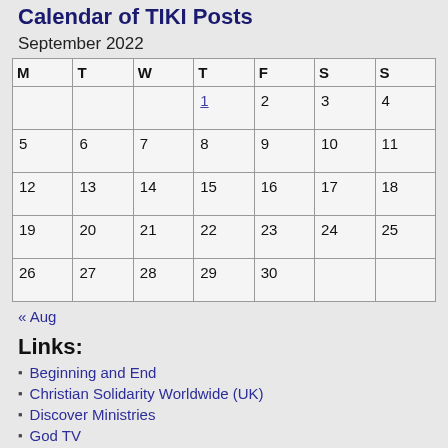Calendar of TIKI Posts
September 2022
| M | T | W | T | F | S | S |
| --- | --- | --- | --- | --- | --- | --- |
|  |  |  | 1 | 2 | 3 | 4 |
| 5 | 6 | 7 | 8 | 9 | 10 | 11 |
| 12 | 13 | 14 | 15 | 16 | 17 | 18 |
| 19 | 20 | 21 | 22 | 23 | 24 | 25 |
| 26 | 27 | 28 | 29 | 30 |  |  |
« Aug
Links:
Beginning and End
Christian Solidarity Worldwide (UK)
Discover Ministries
God TV
Proposal 21 and The Illuminati
SheWatchTV